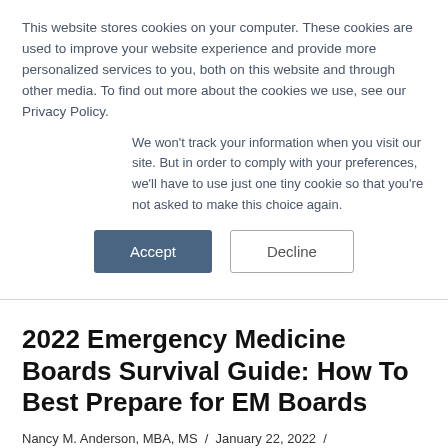This website stores cookies on your computer. These cookies are used to improve your website experience and provide more personalized services to you, both on this website and through other media. To find out more about the cookies we use, see our Privacy Policy.
We won't track your information when you visit our site. But in order to comply with your preferences, we'll have to use just one tiny cookie so that you're not asked to make this choice again.
Accept | Decline
2022 Emergency Medicine Boards Survival Guide: How To Best Prepare for EM Boards
Nancy M. Anderson, MBA, MS / January 22, 2022 /
Emergency Medicine, Emergency Medicine Comparisons, Personal Education
[Figure (other): Partial book cover image with red and purple sections, showing 'QUICK' in yellow italic bold text and '2022' in yellow bold text on purple background]